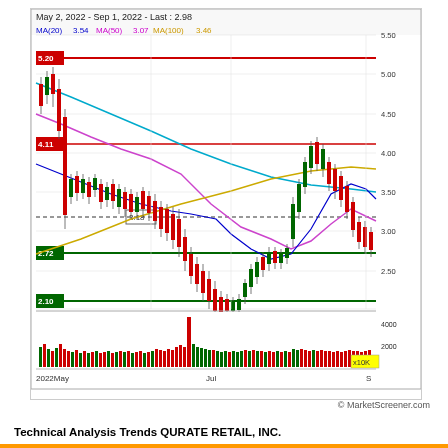[Figure (continuous-plot): Stock price candlestick chart for QURATE RETAIL INC from May 2, 2022 to Sep 1, 2022. Last price: 2.98. Shows MA(20)=3.54 in blue, MA(50)=3.07 in purple/magenta, MA(100)=3.46 in cyan. Horizontal resistance/support lines at 5.20 (red), 4.11 (red), 3.18 (dashed), 2.72 (green), 2.10 (green). Price fell from ~4.50 in May to low near 2.10 in July then recovered to ~4.00 before declining to ~2.98. Volume panel below with red spike in early July. Scale x10K.]
© MarketScreener.com
Technical Analysis Trends QURATE RETAIL, INC.